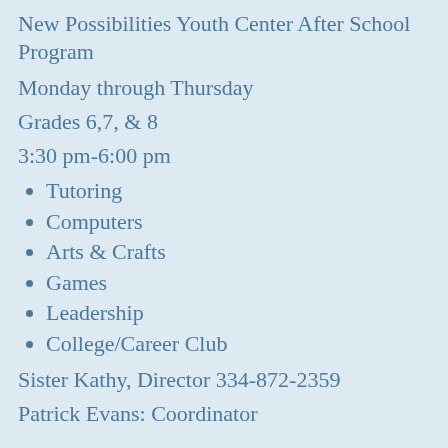New Possibilities Youth Center After School Program
Monday through Thursday
Grades 6,7, & 8
3:30 pm-6:00 pm
Tutoring
Computers
Arts & Crafts
Games
Leadership
College/Career Club
Sister Kathy, Director 334-872-2359
Patrick Evans: Coordinator